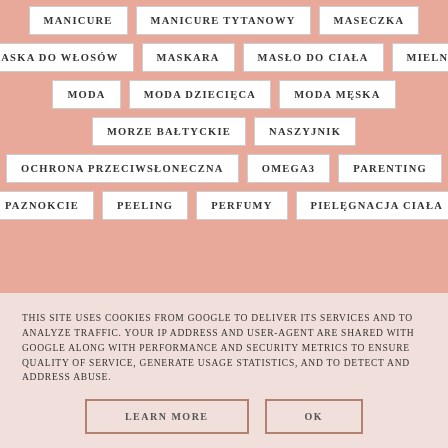MANICURE
MANICURE TYTANOWY
MASECZKA
MASKA DO WŁOSÓW
MASKARA
MASŁO DO CIAŁA
MIELNO
MODA
MODA DZIECIĘCA
MODA MĘSKA
MORZE BAŁTYCKIE
NASZYJNIK
OCHRONA PRZECIWSŁONECZNA
OMEGA3
PARENTING
PAZNOKCIE
PEELING
PERFUMY
PIELĘGNACJA CIAŁA
THIS SITE USES COOKIES FROM GOOGLE TO DELIVER ITS SERVICES AND TO ANALYZE TRAFFIC. YOUR IP ADDRESS AND USER-AGENT ARE SHARED WITH GOOGLE ALONG WITH PERFORMANCE AND SECURITY METRICS TO ENSURE QUALITY OF SERVICE, GENERATE USAGE STATISTICS, AND TO DETECT AND ADDRESS ABUSE.
LEARN MORE | OK